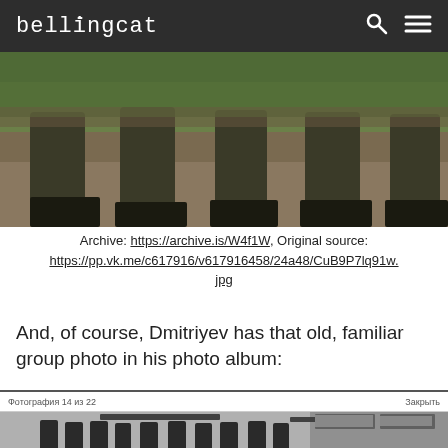bellingcat
[Figure (photo): Cropped photo showing the lower bodies and boots of several soldiers wearing military fatigues, standing on dirt ground with grass in the background.]
Archive: https://archive.is/W4f1W, Original source: https://pp.vk.me/c617916/v617916458/24a48/CuB9P7lq91w.jpg
And, of course, Dmitriyev has that old, familiar group photo in his photo album:
[Figure (screenshot): Screenshot of a VK photo album page showing a black and white group photo of soldiers standing in front of military vehicles/tanks. The header shows 'Фотография 14 из 22' and 'Закрыть'.]